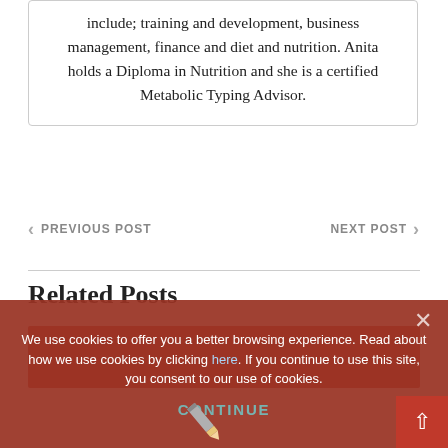include; training and development, business management, finance and diet and nutrition. Anita holds a Diploma in Nutrition and she is a certified Metabolic Typing Advisor.
< PREVIOUS POST
NEXT POST >
Related Posts
We use cookies to offer you a better browsing experience. Read about how we use cookies by clicking here. If you continue to use this site, you consent to our use of cookies.
CONTINUE